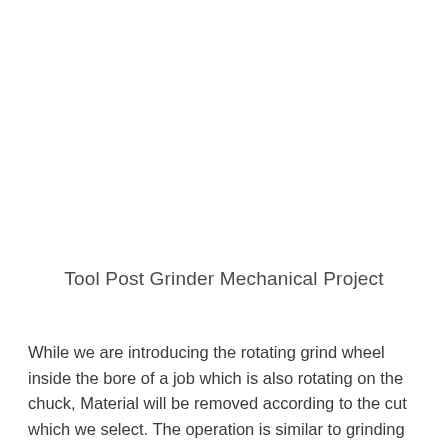Tool Post Grinder Mechanical Project
While we are introducing the rotating grind wheel inside the bore of a job which is also rotating on the chuck, Material will be removed according to the cut which we select. The operation is similar to grinding operation. In turning, a single point tool removes the material, but in